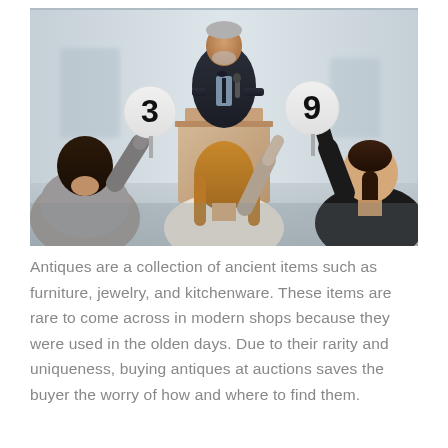[Figure (photo): An auction scene showing an auctioneer standing at a podium holding a microphone, with three bidders in the foreground holding up numbered paddles (numbers 3 and 9 visible). The setting appears to be an indoor auction room with light-colored walls.]
Antiques are a collection of ancient items such as furniture, jewelry, and kitchenware. These items are rare to come across in modern shops because they were used in the olden days. Due to their rarity and uniqueness, buying antiques at auctions saves the buyer the worry of how and where to find them.